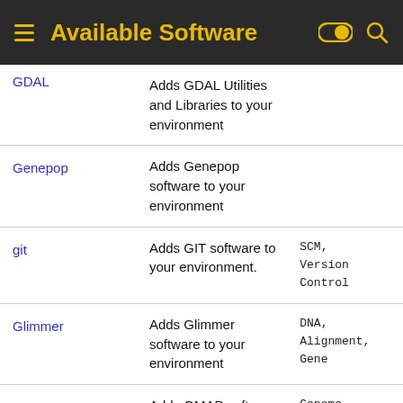Available Software
| Name | Description | Tags |
| --- | --- | --- |
| GDAL | Adds GDAL Utilities and Libraries to your environment |  |
| Genepop | Adds Genepop software to your environment |  |
| git | Adds GIT software to your environment. | SCM, Version Control |
| Glimmer | Adds Glimmer software to your environment | DNA, Alignment, Gene |
| GMAP | Adds GMAP software to your environment. | Genome Mapping, Sequence |